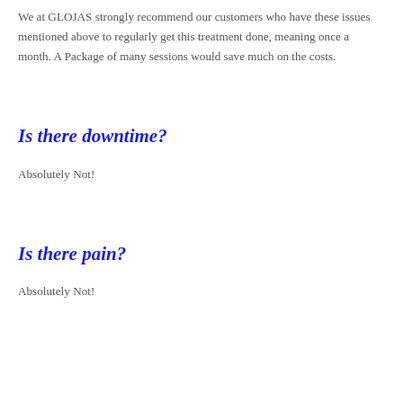We at GLOJAS strongly recommend our customers who have these issues mentioned above to regularly get this treatment done, meaning once a month. A Package of many sessions would save much on the costs.
Is there downtime?
Absolutely Not!
Is there pain?
Absolutely Not!